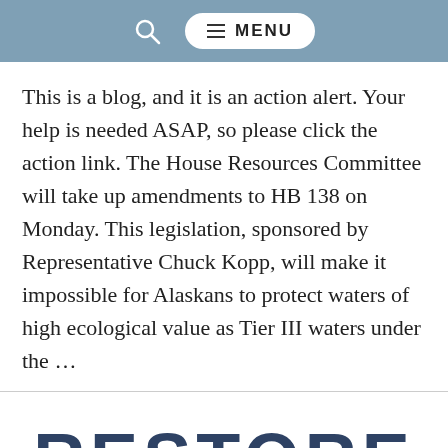🔍  ≡ MENU
This is a blog, and it is an action alert. Your help is needed ASAP, so please click the action link. The House Resources Committee will take up amendments to HB 138 on Monday. This legislation, sponsored by Representative Chuck Kopp, will make it impossible for Alaskans to protect waters of high ecological value as Tier III waters under the ...
[Figure (logo): Dark navy circular logo with a salmon/fish illustration and large bold text 'RESTORE' partially visible at top, white line art fish on dark blue circular background]